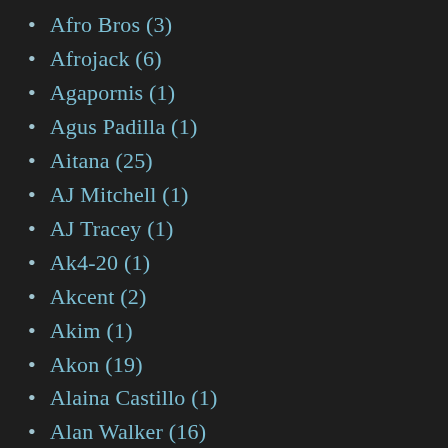Afro Bros (3)
Afrojack (6)
Agapornis (1)
Agus Padilla (1)
Aitana (25)
AJ Mitchell (1)
AJ Tracey (1)
Ak4-20 (1)
Akcent (2)
Akim (1)
Akon (19)
Alaina Castillo (1)
Alan Walker (16)
Alanis Morissette (8)
Alaya (1)
Alborosie (1)